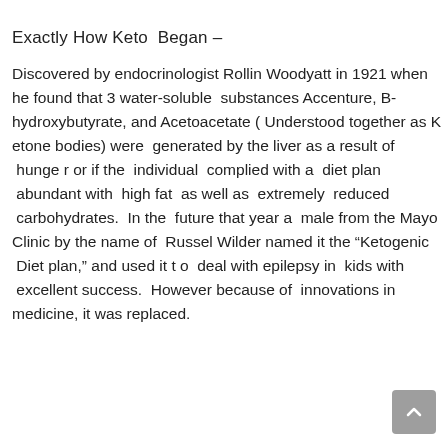Exactly How Keto  Began –
Discovered by endocrinologist Rollin Woodyatt in 1921 when he found that 3 water-soluble  substances Accenture, B-hydroxybutyrate, and Acetoacetate ( Understood together as Ketone bodies) were  generated by the liver as a result of  hunger or if the  individual  complied with a  diet plan  abundant with  high fat  as well as  extremely  reduced  carbohydrates.  In the  future that year a  male from the Mayo Clinic by the name of  Russel Wilder named it the “Ketogenic  Diet plan,” and used it to  deal with epilepsy in  kids with  excellent success.  However because of  innovations in medicine, it was replaced.